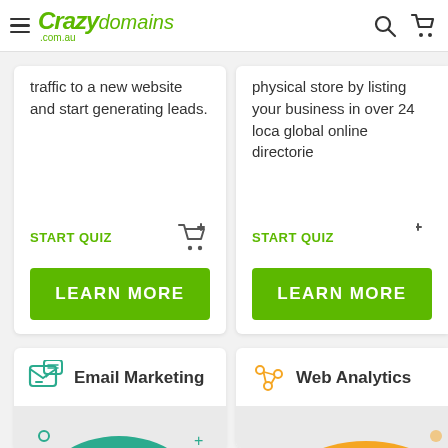Crazy domains .com.au
traffic to a new website and start generating leads.
START QUIZ
LEARN MORE
physical store by listing your business in over 24 local global online directories
START QUIZ
LEARN MORE
Email Marketing
[Figure (illustration): Email marketing illustration with teal green background circle, envelope and letter with heart icon]
Web Analytics
[Figure (illustration): Web analytics illustration with orange background, laptop with bar chart]